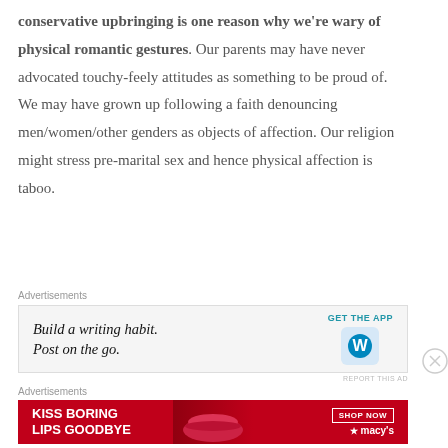conservative upbringing is one reason why we're wary of physical romantic gestures. Our parents may have never advocated touchy-feely attitudes as something to be proud of. We may have grown up following a faith denouncing men/women/other genders as objects of affection. Our religion might stress pre-marital sex and hence physical affection is taboo.
Advertisements
[Figure (other): WordPress app advertisement: 'Build a writing habit. Post on the go.' with GET THE APP button and WordPress logo]
Advertisements
[Figure (other): Macy's advertisement: 'KISS BORING LIPS GOODBYE' with SHOP NOW button and woman's face with red lips]